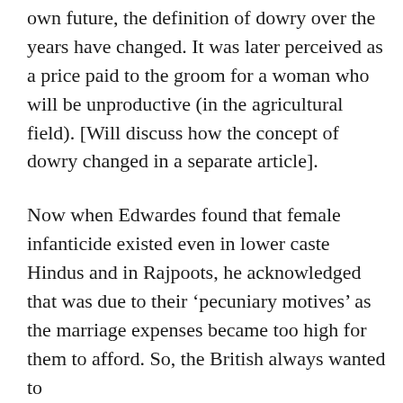own future, the definition of dowry over the years have changed. It was later perceived as a price paid to the groom for a woman who will be unproductive (in the agricultural field). [Will discuss how the concept of dowry changed in a separate article].
Now when Edwardes found that female infanticide existed even in lower caste Hindus and in Rajpoots, he acknowledged that was due to their ‘pecuniary motives’ as the marriage expenses became too high for them to afford. So, the British always wanted to suppress the female infanticide and lower...